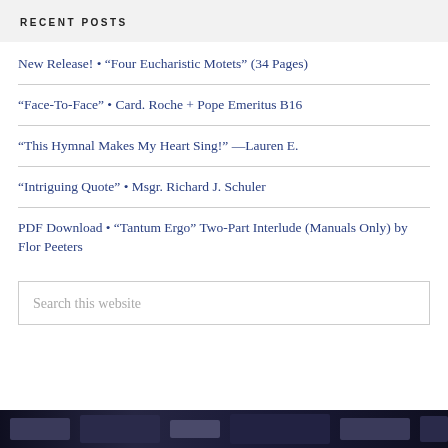RECENT POSTS
New Release! • “Four Eucharistic Motets” (34 Pages)
“Face-To-Face” • Card. Roche + Pope Emeritus B16
“This Hymnal Makes My Heart Sing!” —Lauren E.
“Intriguing Quote” • Msgr. Richard J. Schuler
PDF Download • “Tantum Ergo” Two-Part Interlude (Manuals Only) by Flor Peeters
Search this website
[Figure (photo): Dark background image at the bottom of the page, partially visible]